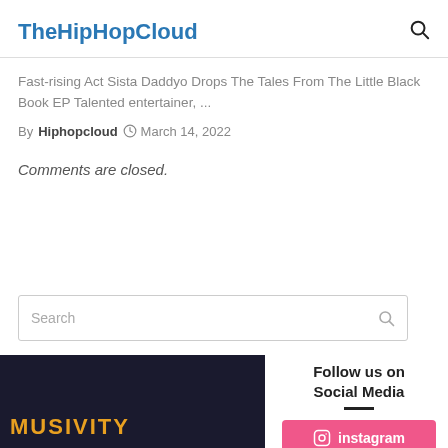TheHipHopCloud
Fast-rising Act Sista Daddyo Drops The Tales From The Little Black Book EP Talented entertainer, ...
By Hiphopcloud  March 14, 2022
Comments are closed.
Search
Follow us on Social Media
instagram
[Figure (photo): Dark background image with text MUSIVITY in gold/yellow lettering]